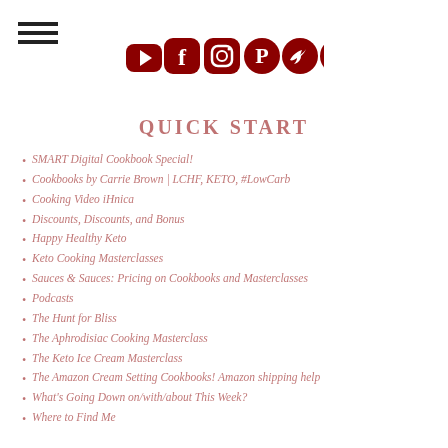[Figure (other): Hamburger menu icon (three horizontal lines) in top left corner]
[Figure (other): Row of social media icons in dark red: YouTube, Facebook, Instagram, Pinterest, Twitter, and a link/chain icon]
QUICK START
SMART Digital Cookbook Special!
Cookbooks by Carrie Brown | LCHF, KETO, #LowCarb
Cooking Video iHnica
Discounts, Discounts, and Bonus
Happy Healthy Keto
Keto Cooking Masterclasses
Sauces & Sauces: Pricing on Cookbooks and Masterclasses
Podcasts
The Hunt for Bliss
The Aphrodisiac Cooking Masterclass
The Keto Ice Cream Masterclass
The Amazon Cream Setting Cookbooks! Amazon shipping help
What's Going Down on/with/about This Week?
Where to Find Me